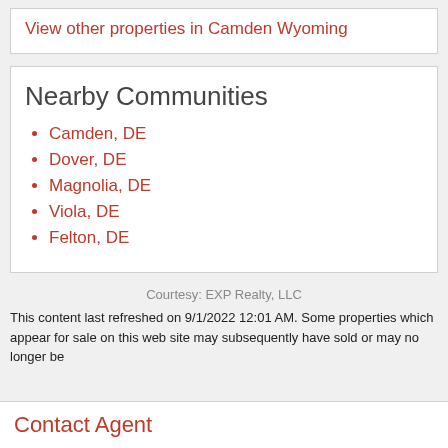View other properties in Camden Wyoming
Nearby Communities
Camden, DE
Dover, DE
Magnolia, DE
Viola, DE
Felton, DE
Courtesy: EXP Realty, LLC
This content last refreshed on 9/1/2022 12:01 AM. Some properties which appear for sale on this web site may subsequently have sold or may no longer be
Contact Agent